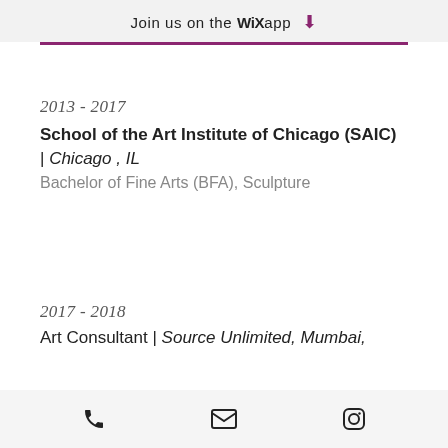Join us on the WiX app ↓
2013 - 2017
School of the Art Institute of Chicago (SAIC) | Chicago , IL
Bachelor of Fine Arts (BFA), Sculpture
2017 - 2018
Art Consultant | Source Unlimited, Mumbai,
phone | email | instagram